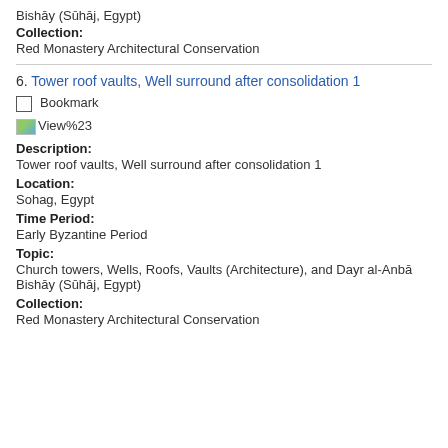Bishāy (Sūhāj, Egypt)
Collection:
Red Monastery Architectural Conservation
6. Tower roof vaults, Well surround after consolidation 1
Bookmark
[Figure (other): Small broken image icon followed by text 'View%23']
Description:
Tower roof vaults, Well surround after consolidation 1
Location:
Sohag, Egypt
Time Period:
Early Byzantine Period
Topic:
Church towers, Wells, Roofs, Vaults (Architecture), and Dayr al-Anbā Bishāy (Sūhāj, Egypt)
Collection:
Red Monastery Architectural Conservation